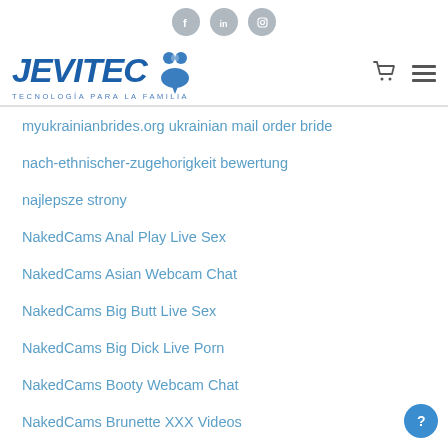[Figure (logo): Social media icons: Facebook, LinkedIn, Instagram in gray circles]
[Figure (logo): JEVITEC logo with tagline TECNOLOGÍA PARA LA FAMILIA and cart/menu icons]
myukrainianbrides.org ukrainian mail order bride
nach-ethnischer-zugehorigkeit bewertung
najlepsze strony
NakedCams Anal Play Live Sex
NakedCams Asian Webcam Chat
NakedCams Big Butt Live Sex
NakedCams Big Dick Live Porn
NakedCams Booty Webcam Chat
NakedCams Brunette XXX Videos